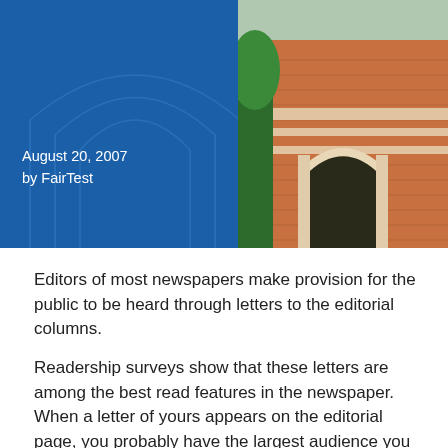[Figure (photo): Header image split into two sections: left side is a blue panel with decorative arch outlines, right side shows a brick university building with arched doorways and ornamental stonework.]
August 20, 2007
by FairTest
Editors of most newspapers make provision for the public to be heard through letters to the editorial columns.
Readership surveys show that these letters are among the best read features in the newspaper. When a letter of yours appears on the editorial page, you probably have the largest audience you will ever address. Lets estimate its size. A small town weekly may have a circulation of 2000. A metropolitan daily may have as many as a million